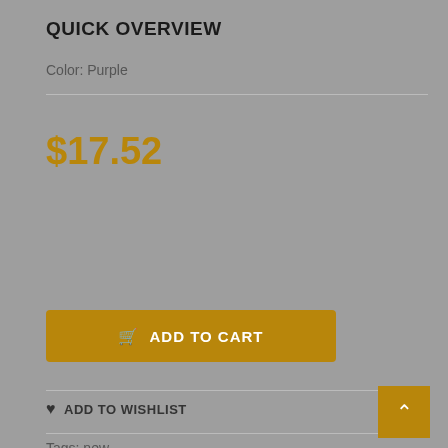QUICK OVERVIEW
Color: Purple
$17.52
1
ADD TO CART
ADD TO WISHLIST
Tags: new